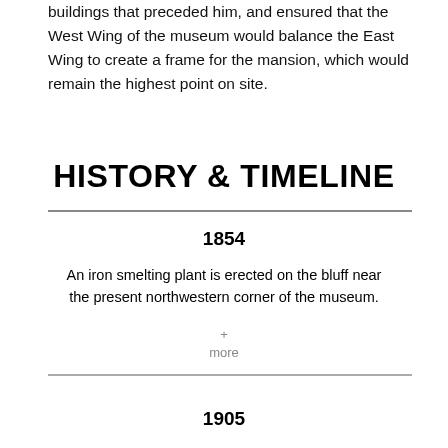buildings that preceded him, and ensured that the West Wing of the museum would balance the East Wing to create a frame for the mansion, which would remain the highest point on site.
HISTORY & TIMELINE
1854
An iron smelting plant is erected on the bluff near the present northwestern corner of the museum.
+ more
1905